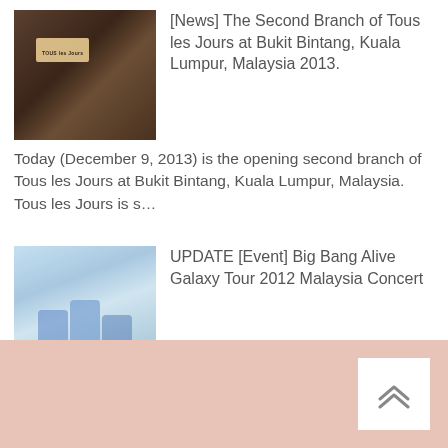[Figure (photo): Photo of Tous les Jours bakery storefront at night with illuminated signage on brick building]
[News] The Second Branch of Tous les Jours at Bukit Bintang, Kuala Lumpur, Malaysia 2013.
Today (December 9, 2013) is the opening second branch of Tous les Jours at Bukit Bintang, Kuala Lumpur, Malaysia. Tous les Jours is s...
[Figure (photo): Promotional illustration for Big Bang Alive Galaxy Tour 2012 Malaysia Concert showing stylized figures in blue tones]
UPDATE [Event] Big Bang Alive Galaxy Tour 2012 Malaysia Concert
Wah!!!!! \(^o^)/  Finally!!!!! Running Into The Sun make the announce about the ticket launch event just around 2 hour ago at their F...